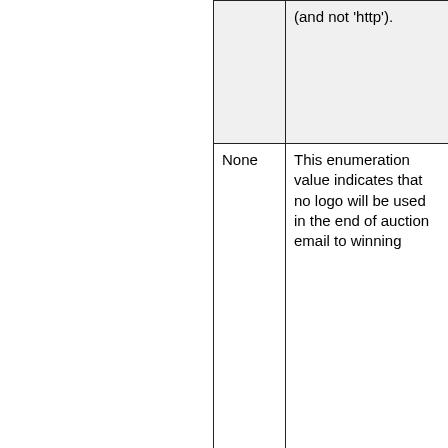|  | (and not 'http'). |
| None | This enumeration value indicates that no logo will be used in the end of auction email to winning |